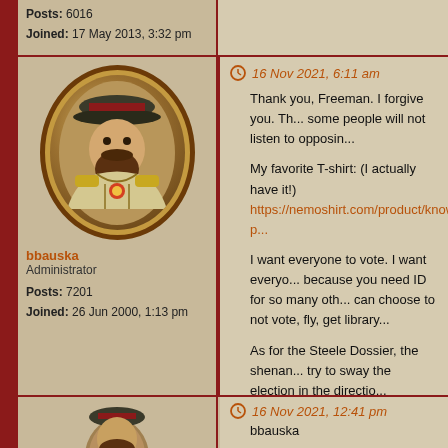Posts: 6016
Joined: 17 May 2013, 3:32 pm
16 Nov 2021, 6:11 am
[Figure (illustration): Avatar portrait of a military figure in uniform with hat, painted in vintage style within an oval frame with brown border]
bbauska
Administrator
Posts: 7201
Joined: 26 Jun 2000, 1:13 pm
Thank you, Freeman. I forgive you. Th... some people will not listen to opposin...

My favorite T-shirt: (I actually have it!)
https://nemoshirt.com/product/know-p...

I want everyone to vote. I want everyo... because you need ID for so many oth... can choose to not vote, fly, get library...

As for the Steele Dossier, the shenan... try to sway the election in the directio...

As for the Trump trying to get the stat...

IMHO, the people want free and fair e...
16 Nov 2021, 12:41 pm
bbauska